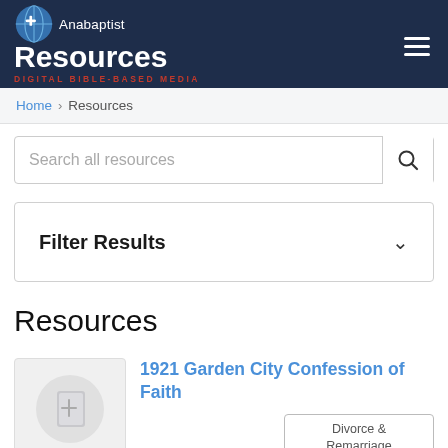Anabaptist Resources DIGITAL BIBLE-BASED MEDIA
Home › Resources
Search all resources
Filter Results
Resources
1921 Garden City Confession of Faith
Divorce & Remarriage